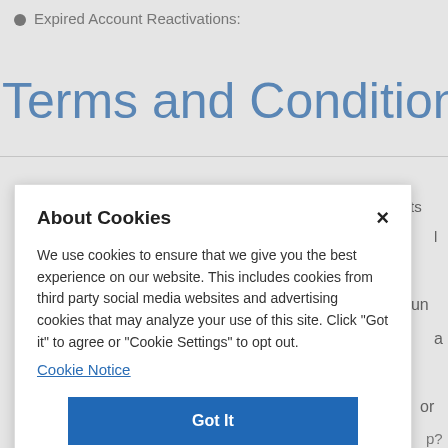Expired Account Reactivations:
Terms and Conditions
We use cookies to ensure that we give you the best experience on our website. This includes cookies from third party social media websites and advertising cookies that may analyze your use of this site. Click "Got it" to agree or "Cookie Settings" to opt out.
Cookie Notice
Got It
Cookies Settings